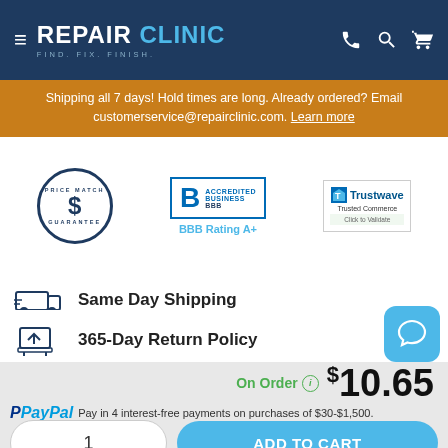≡ REPAIR CLINIC FIND. FIX. FINISH. [phone] [search] [cart]
Shipping all 7 days! Hold times are long. Already ordered? Email customerservice@repairclinic.com. Learn more
[Figure (logo): Price Match Guarantee badge (circular navy badge with dollar sign)]
[Figure (logo): BBB Accredited Business badge with BBB Rating A+]
[Figure (logo): Trustwave Trusted Commerce badge - Click to Validate]
Same Day Shipping
365-Day Return Policy
On Order  $10.65
PayPal Pay in 4 interest-free payments on purchases of $30-$1,500.
1
ADD TO CART